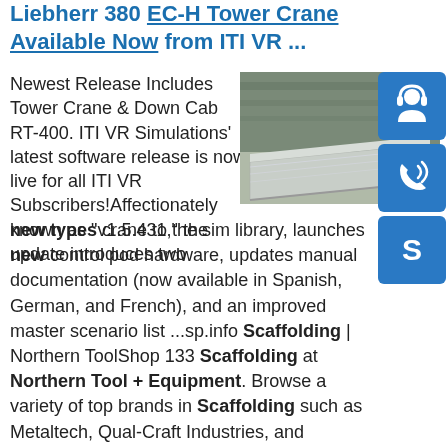Liebherr 380 EC-H Tower Crane Available Now from ITI VR ...
Newest Release Includes Tower Crane & Down Cab RT-400. ITI VR Simulations' latest software release is now live for all ITI VR Subscribers!Affectionately known as "v1.5.431," the update introduces two new types crane to the sim library, launches new control pod hardware, updates manual documentation (now available in Spanish, German, and French), and an improved master scenario list ...sp.info Scaffolding | Northern ToolShop 133 Scaffolding at Northern Tool + Equipment. Browse a variety of top brands in Scaffolding such as Metaltech, Qual-Craft Industries, and Peerless Hardware from the product experts.sp.info
[Figure (photo): Photo of metal sheet or panel on industrial shelving/storage rack]
[Figure (illustration): Blue button with headset/support icon]
[Figure (illustration): Blue button with phone/call icon]
[Figure (illustration): Blue button with Skype icon]